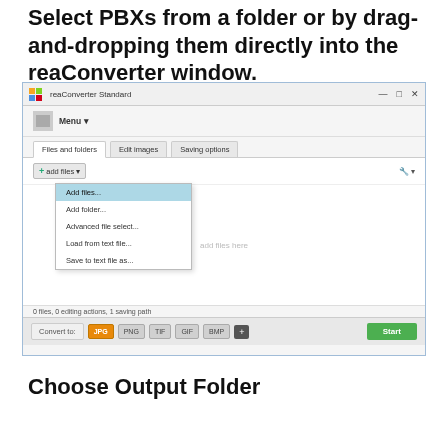Select PBXs from a folder or by drag-and-dropping them directly into the reaConverter window.
[Figure (screenshot): Screenshot of reaConverter Standard application window showing the Files and folders tab with an open dropdown menu listing: Add files... (highlighted in blue), Add folder..., Advanced file select..., Load from text file..., Save to text file as.... The bottom bar shows Convert to: with JPG selected (orange), PNG, TIF, GIF, BMP buttons, a + button, and a green Start button.]
Choose Output Folder